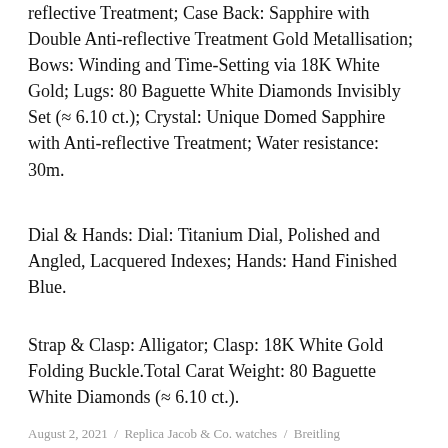reflective Treatment; Case Back: Sapphire with Double Anti-reflective Treatment Gold Metallisation; Bows: Winding and Time-Setting via 18K White Gold; Lugs: 80 Baguette White Diamonds Invisibly Set (≈ 6.10 ct.); Crystal: Unique Domed Sapphire with Anti-reflective Treatment; Water resistance: 30m.
Dial & Hands: Dial: Titanium Dial, Polished and Angled, Lacquered Indexes; Hands: Hand Finished Blue.
Strap & Clasp: Alligator; Clasp: 18K White Gold Folding Buckle.Total Carat Weight: 80 Baguette White Diamonds (≈ 6.10 ct.).
August 2, 2021  /  Replica Jacob & Co. watches  /  Breitling